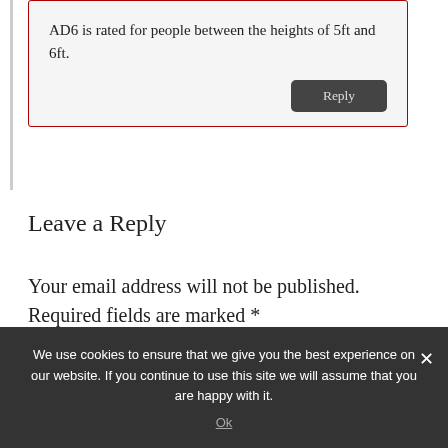AD6 is rated for people between the heights of 5ft and 6ft.
Reply
Leave a Reply
Your email address will not be published. Required fields are marked *
We use cookies to ensure that we give you the best experience on our website. If you continue to use this site we will assume that you are happy with it.
Ok